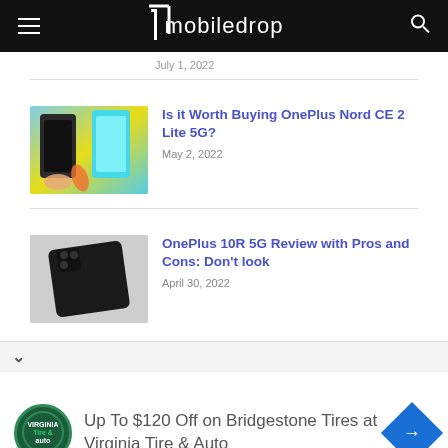mobiledrop
July 1, 2022
Is it Worth Buying OnePlus Nord CE 2 Lite 5G?
May 2, 2022
[Figure (photo): OnePlus Nord CE 2 Lite 5G phone shown in two colors against colorful background]
OnePlus 10R 5G Review with Pros and Cons: Don't look
April 30, 2022
[Figure (photo): OnePlus 10R 5G black phone lying flat on grey background]
Up To $120 Off on Bridgestone Tires at Virginia Tire & Auto